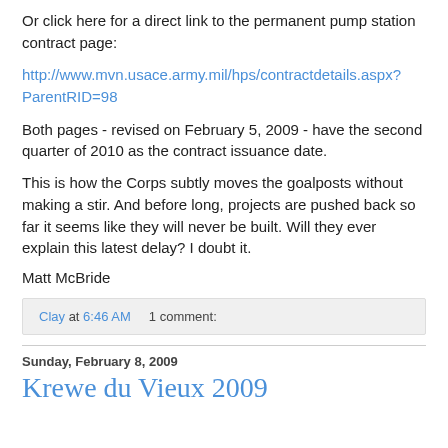Or click here for a direct link to the permanent pump station contract page:
http://www.mvn.usace.army.mil/hps/contractdetails.aspx?ParentRID=98
Both pages - revised on February 5, 2009 - have the second quarter of 2010 as the contract issuance date.
This is how the Corps subtly moves the goalposts without making a stir. And before long, projects are pushed back so far it seems like they will never be built. Will they ever explain this latest delay? I doubt it.
Matt McBride
Clay at 6:46 AM    1 comment:
Sunday, February 8, 2009
Krewe du Vieux 2009